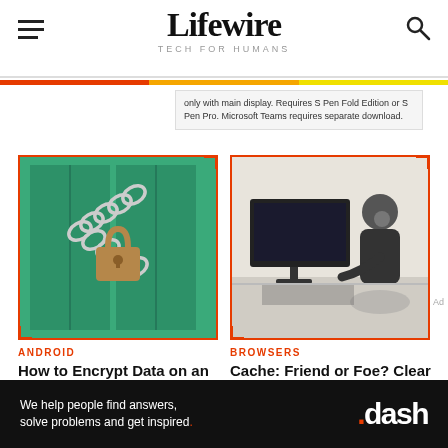Lifewire — TECH FOR HUMANS
only with main display. Requires S Pen Fold Edition or S Pen Pro. Microsoft Teams requires separate download.
[Figure (photo): Green wooden doors secured with a chain and padlock]
ANDROID
How to Encrypt Data on an Android or iOS Device
[Figure (photo): Business person sitting at desk with computer monitor, thinking]
BROWSERS
Cache: Friend or Foe? Clear Often for Best Performance
[Figure (infographic): Ad banner: We help people find answers, solve problems and get inspired. .dash]